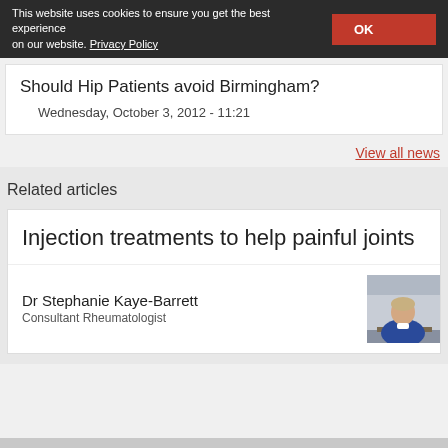This website uses cookies to ensure you get the best experience on our website. Privacy Policy
Should Hip Patients avoid Birmingham?
Wednesday, October 3, 2012 - 11:21
View all news
Related articles
Injection treatments to help painful joints
Dr Stephanie Kaye-Barrett
Consultant Rheumatologist
[Figure (photo): Portrait photo of Dr Stephanie Kaye-Barrett, a woman in a blue blazer seated at a desk]